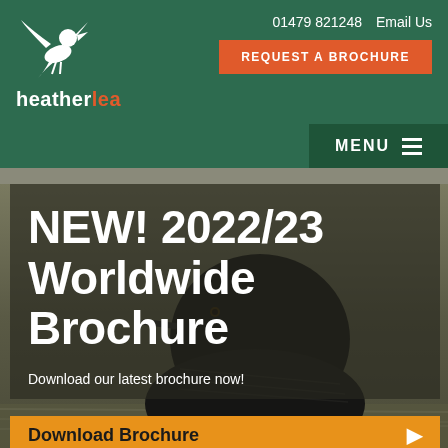heatherlea | 01479 821248 | Email Us | REQUEST A BROCHURE | MENU
NEW! 2022/23 Worldwide Brochure
Download our latest brochure now!
Download Brochure